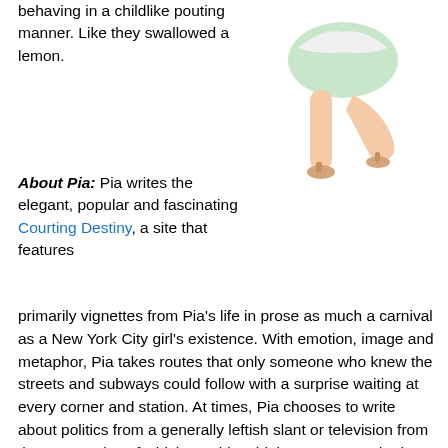behaving in a childlike pouting manner. Like they swallowed a lemon.
[Figure (photo): Illustration of a woman in a light green dress and high heels, shown from the waist down, in a pin-up style pose]
About Pia: Pia writes the elegant, popular and fascinating Courting Destiny, a site that features primarily vignettes from Pia's life in prose as much a carnival as a New York City girl's existence. With emotion, image and metaphor, Pia takes routes that only someone who knew the streets and subways could follow with a surprise waiting at every corner and station. At times, Pia chooses to write about politics from a generally leftish slant or television from the perspective of whichever bloc thinks James Spader is king. When I was getting to know Courting Destiny she had written a few political pieces which led, through the magic of the internet, to unrelenting illumination from some of the dimmer quarters of the blogosphere. Rather than be distracted from the central purpose of her site, Pia got together with some of her blog friends to found a collaborative left-leaning political site, Bring It On!. Pia and